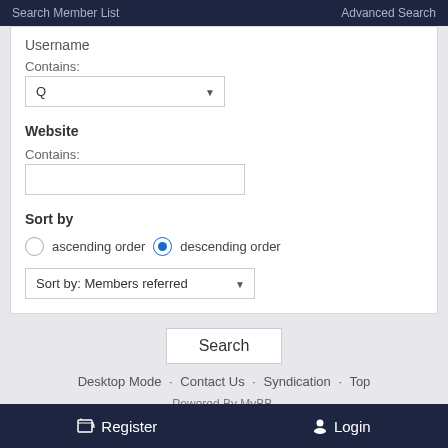Search Member List    Advanced Search
Username
Contains:
Q (dropdown)
Website
Contains:
Sort by
ascending order    descending order
Sort by: Members referred
Search
Desktop Mode  Contact Us  Syndication  Top
Powered By MyBB.
Theme by ThemeFreak
Register    Login